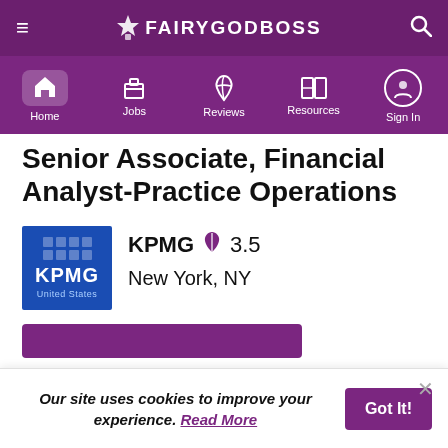FAIRYGODBOSS
Senior Associate, Financial Analyst-Practice Operations
KPMG  3.5
New York, NY
Our site uses cookies to improve your experience. Read More